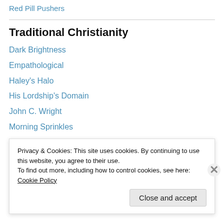Red Pill Pushers
Traditional Christianity
Dark Brightness
Empathological
Haley's Halo
His Lordship's Domain
John C. Wright
Morning Sprinkles
Patriactionary
Resting in Apricity
Sarah's Daughter
Privacy & Cookies: This site uses cookies. By continuing to use this website, you agree to their use.
To find out more, including how to control cookies, see here: Cookie Policy